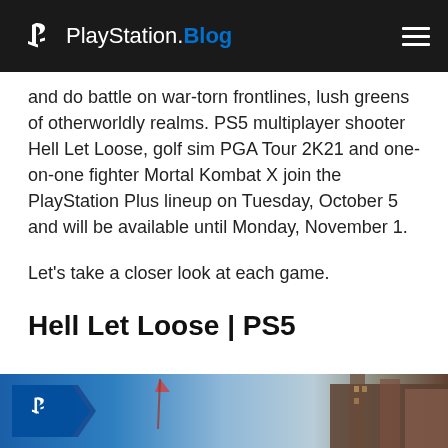PlayStation.Blog
and do battle on war-torn frontlines, lush greens of otherworldly realms. PS5 multiplayer shooter Hell Let Loose, golf sim PGA Tour 2K21 and one-on-one fighter Mortal Kombat X join the PlayStation Plus lineup on Tuesday, October 5 and will be available until Monday, November 1.
Let's take a closer look at each game.
Hell Let Loose | PS5
[Figure (photo): Screenshot from Hell Let Loose game showing war scene with PlayStation logo badge overlay]